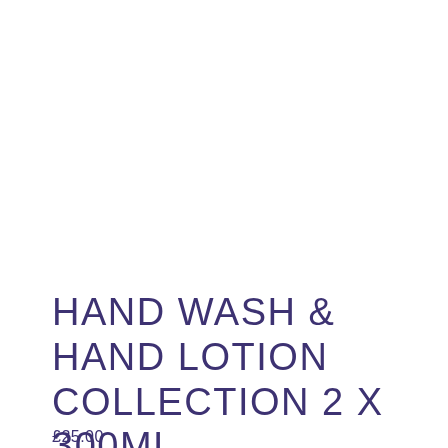HAND WASH & HAND LOTION COLLECTION 2 X 300ML
£25.00